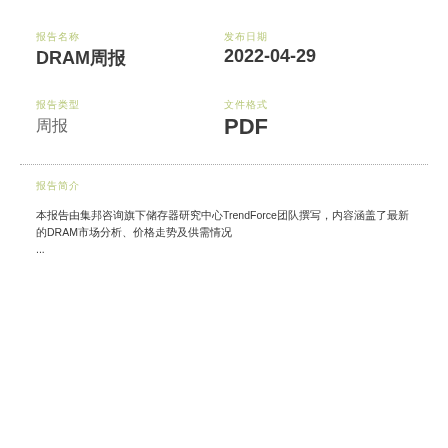报告名称
DRAM周报
发布日期
2022-04-29
报告类型
周报
文件格式
PDF
报告简介
本报告由集邦咨询旗下储存器研究中心TrendForce团队撰写，内容涵盖了最新的DRAM市场分析、价格走势及供需情况...